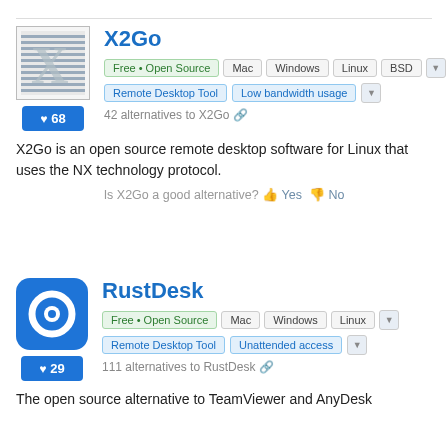[Figure (logo): X2Go application logo with striped X on grey background]
X2Go
Free • Open Source  Mac  Windows  Linux  BSD
Remote Desktop Tool  Low bandwidth usage
42 alternatives to X2Go
X2Go is an open source remote desktop software for Linux that uses the NX technology protocol.
Is X2Go a good alternative? Yes No
[Figure (logo): RustDesk application logo: blue rounded square with white target/power ring icon]
RustDesk
Free • Open Source  Mac  Windows  Linux
Remote Desktop Tool  Unattended access
111 alternatives to RustDesk
The open source alternative to TeamViewer and AnyDesk